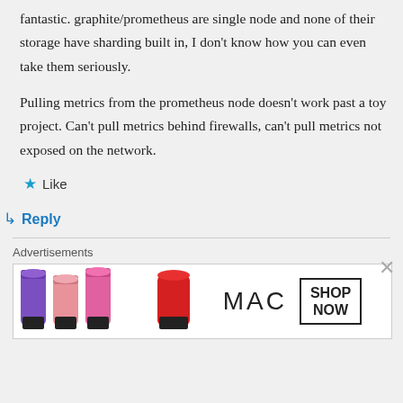fantastic. graphite/prometheus are single node and none of their storage have sharding built in, I don't know how you can even take them seriously.
Pulling metrics from the prometheus node doesn't work past a toy project. Can't pull metrics behind firewalls, can't pull metrics not exposed on the network.
★ Like
↳ Reply
Advertisements
[Figure (photo): MAC Cosmetics advertisement showing colorful lipsticks and MAC SHOP NOW branding]